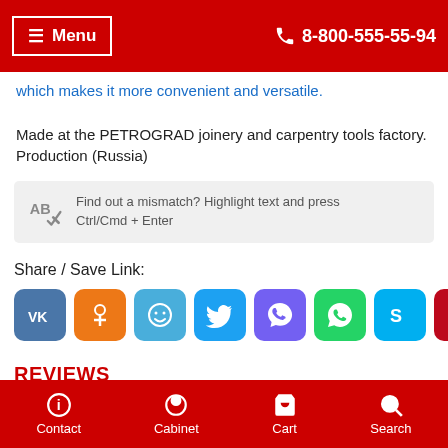Menu | 8-800-555-55-94
which makes it more convenient and versatile.

Made at the PETROGRAD joinery and carpentry tools factory. Production (Russia)
Find out a mismatch? Highlight text and press Ctrl/Cmd + Enter
Share / Save Link:
[Figure (infographic): Row of 8 social media share buttons: VK (blue), OK (orange), Moi Mir (light blue), Twitter (blue), Viber (purple), WhatsApp (green), Skype (light blue), Pinterest (red)]
REVIEWS
Contact | Cabinet | Cart | Search